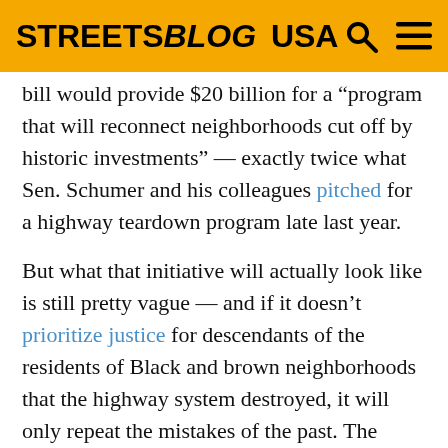STREETSBLOG USA
bill would provide $20 billion for a “program that will reconnect neighborhoods cut off by historic investments” — exactly twice what Sen. Schumer and his colleagues pitched for a highway teardown program late last year.
But what that initiative will actually look like is still pretty vague — and if it doesn’t prioritize justice for descendants of the residents of Black and brown neighborhoods that the highway system destroyed, it will only repeat the mistakes of the past. The briefing doesn’t even clarify what it means to “reconnect” a neighborhood; it doesn’t explicitly mention highway removal or land bridges at all, although, troublingly, it does mention “advanced pavements that recycle